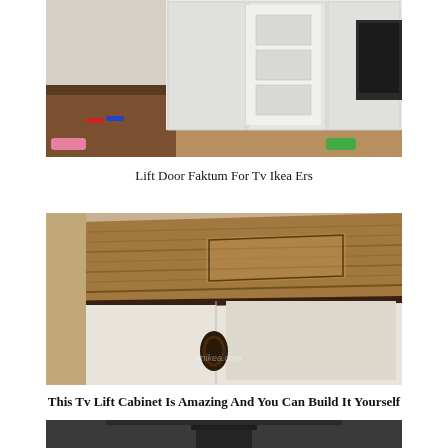[Figure (photo): Room with white IKEA cabinets/wardrobes, a dark wood desk or surface in foreground, red and blue markers visible, television partially visible on right]
Lift Door Faktum For Tv Ikea Ers
[Figure (photo): Close-up of a white painted TV lift cabinet with a warm brown/walnut wood top surface showing wood grain texture, dark metal handle visible on cabinet door, watermark text visible]
This Tv Lift Cabinet Is Amazing And You Can Build It Yourself
[Figure (photo): Dark room with a wall-mounted flat screen television, dark grey/charcoal background]